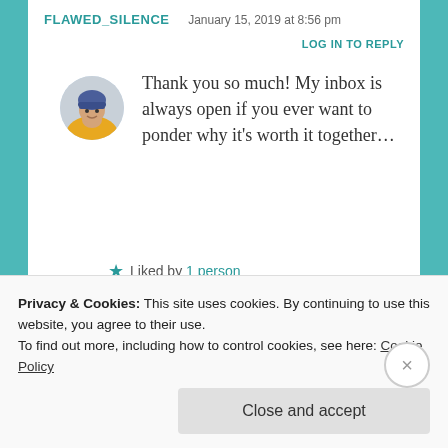FLAWED_SILENCE   January 15, 2019 at 8:56 pm
LOG IN TO REPLY
[Figure (photo): Circular avatar photo of a person wearing a blue beanie hat and yellow jacket]
Thank you so much! My inbox is always open if you ever want to ponder why it’s worth it together…
★ Liked by 1 person
LEAVE A REPLY
Privacy & Cookies: This site uses cookies. By continuing to use this website, you agree to their use.
To find out more, including how to control cookies, see here: Cookie Policy
Close and accept